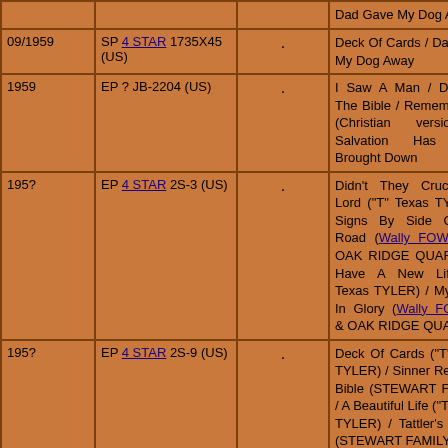| Date | Label/Catalog | Image | Tracks |
| --- | --- | --- | --- |
| 09/1959 | SP 4 STAR 1735X45 (US) | . | Deck Of Cards / Dad Gave My Dog Away |
| 1959 | EP ? JB-2204 (US) | . | I Saw A Man / Dust On The Bible / Remember Me (Christian version) / Salvation Has Been Brought Down |
| 195? | EP 4 STAR 2S-3 (US) | . | Didn't They Crucify My Lord ("T" Texas TYLER) / Signs By Side Of The Road (Wally FOWLER & OAK RIDGE QUARTET) / Have A New Life ("T" Texas TYLER) / My Home In Glory (Wally FOWLER & OAK RIDGE QUARTET) |
| 195? | EP 4 STAR 2S-9 (US) | . | Deck Of Cards ("T" Texas TYLER) / Sinner Read The Bible (STEWART FAMILY) / A Beautiful Life ("T" Texas TYLER) / Tattler's Wagon (STEWART FAMILY) |